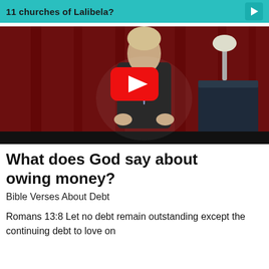11 churches of Lalibela?
[Figure (screenshot): YouTube video thumbnail showing a man in a dark suit speaking at a podium in front of a red curtain, with a YouTube play button overlay in the center.]
What does God say about owing money?
Bible Verses About Debt
Romans 13:8 Let no debt remain outstanding except the continuing debt to love on